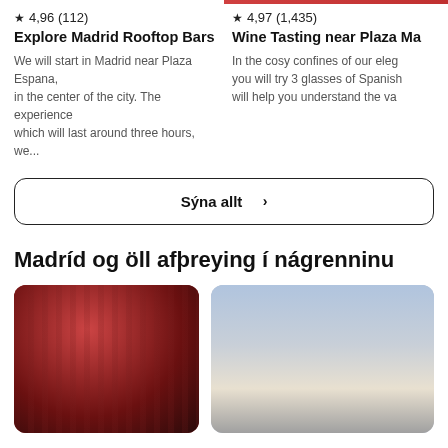★ 4,96 (112)
Explore Madrid Rooftop Bars
We will start in Madrid near Plaza Espana, in the center of the city. The experience which will last around three hours, we...
★ 4,97 (1,435)
Wine Tasting near Plaza Ma
In the cosy confines of our eleg you will try 3 glasses of Spanish will help you understand the va
Sýna allt >
Madríd og öll afþreying í nágrenninu
[Figure (photo): Flamenco performers on stage with red brick wall background, warm red lighting]
[Figure (photo): Outdoor city scene near a plaza with a building and people in background]